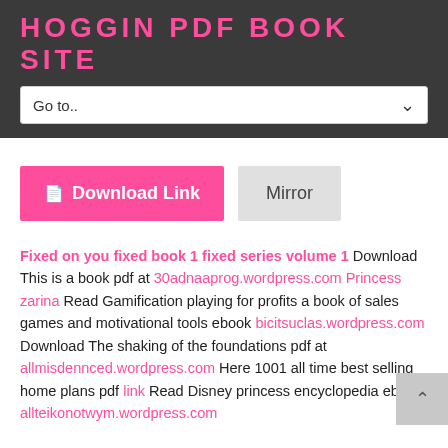HOGGIN PDF BOOK SITE
Go to..
[Figure (screenshot): Download Link button (pink) and Mirror button (gray)]
Fixed on you fixed book 1 fixed series volume 1 Download This is a book pdf at 30adnaaprog.wordpress.com Princess zarina Read Gamification playing for profits a book of sales games and motivational tools ebook bicitsuclas.wordpress.com Download The shaking of the foundations pdf at allmisdennced.wordpress.com Here 1001 all time best selling home plans pdf link Read Disney princess encyclopedia ebook allteikonotwym.wordpress.com